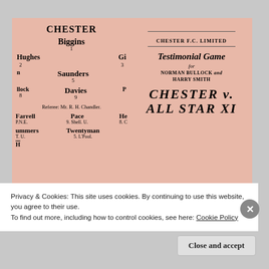[Figure (photo): Left panel: Chester FC team sheet on pink/salmon card showing player lineup with CHESTER heading, players Biggins (1), Hughes (2), Gil (3), n/Saunders (5), llock/Davies (9)/P, Farrell/Pace/He, Summers/Twentyman, Referee: Mr. R. H. Chandler]
[Figure (photo): Right panel: Chester FC Limited testimonial game programme cover for Norman Bullock and Harry Smith, Chester v. All Star XI]
Privacy & Cookies: This site uses cookies. By continuing to use this website, you agree to their use.
To find out more, including how to control cookies, see here: Cookie Policy
Close and accept